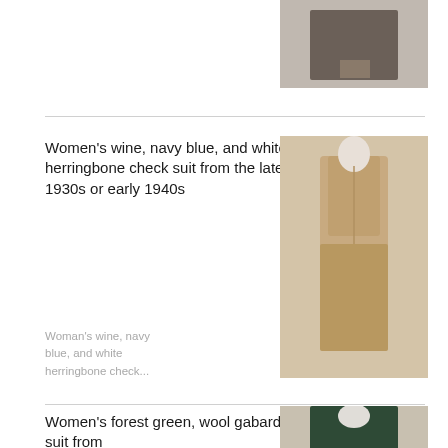[Figure (photo): Partial view of a dark brown/grey suit on a mannequin, cropped at top of page]
Women's wine, navy blue, and white herringbone check suit from the late 1930s or early 1940s
Woman's wine, navy blue, and white herringbone check...
[Figure (photo): Tan/beige women's herringbone check suit (jacket and skirt) on a white mannequin against a beige background]
Women's forest green, wool gabardine suit from